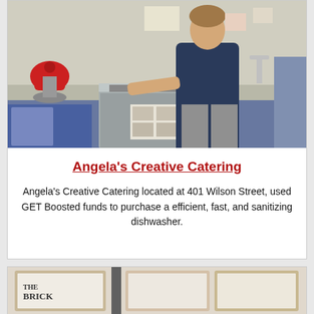[Figure (photo): Woman standing in a kitchen next to a commercial dishwasher. A red KitchenAid stand mixer is visible on the left counter. Stainless steel equipment and blue cabinets are in the background.]
Angela's Creative Catering
Angela's Creative Catering located at 401 Wilson Street, used GET Boosted funds to purchase a efficient, fast, and sanitizing dishwasher.
[Figure (photo): Partial view of framed artwork or signage, including what appears to be a 'Brick' sign, on display.]